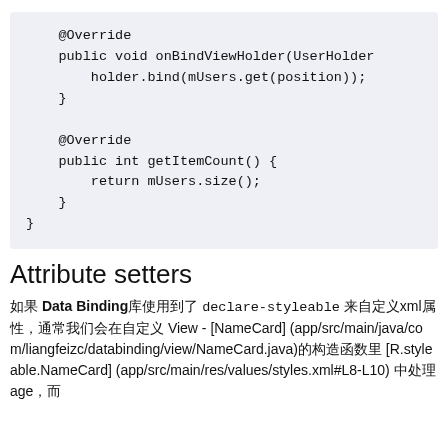@Override
public void onBindViewHolder(UserHolder
    holder.bind(mUsers.get(position));
}

@Override
public int getItemCount() {
    return mUsers.size();
}
}
Attribute setters
如果 Data Binding库使用到了 declare-styleable 来自定义xml属性，通常我们会在自定义 View - [NameCard] (app/src/main/java/com/liangfeizc/databinding/view/NameCard.java)的构造函数里 [R.styleable.NameCard] (app/src/main/res/values/styles.xml#L8-L10) 中处理 age，而